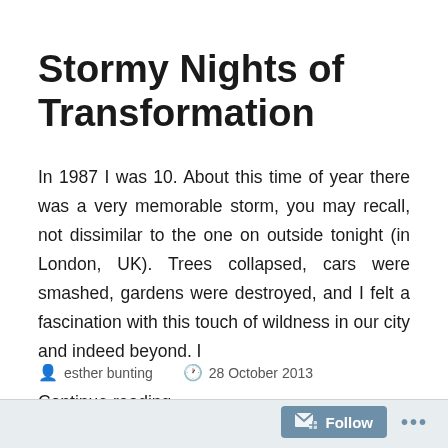Stormy Nights of Transformation
In 1987 I was 10. About this time of year there was a very memorable storm, you may recall, not dissimilar to the one on outside tonight (in London, UK). Trees collapsed, cars were smashed, gardens were destroyed, and I felt a fascination with this touch of wildness in our city and indeed beyond. I
Continue reading →
esther bunting   28 October 2013   Follow ...